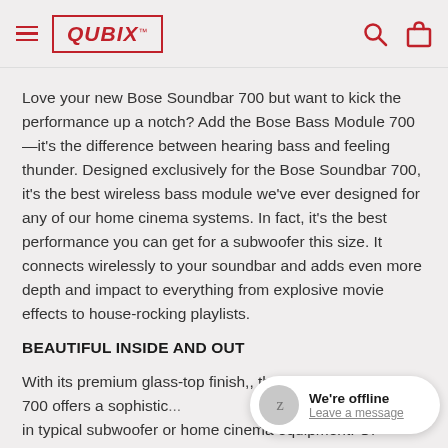QUBIX
Love your new Bose Soundbar 700 but want to kick the performance up a notch? Add the Bose Bass Module 700—it's the difference between hearing bass and feeling thunder. Designed exclusively for the Bose Soundbar 700, it's the best wireless bass module we've ever designed for any of our home cinema systems. In fact, it's the best performance you can get for a subwoofer this size. It connects wirelessly to your soundbar and adds even more depth and impact to everything from explosive movie effects to house-rocking playlists.
BEAUTIFUL INSIDE AND OUT
With its premium glass-top finish, the Bose Bass Module 700 offers a sophisticated... in typical subwoofer or home cinema equipment. Of